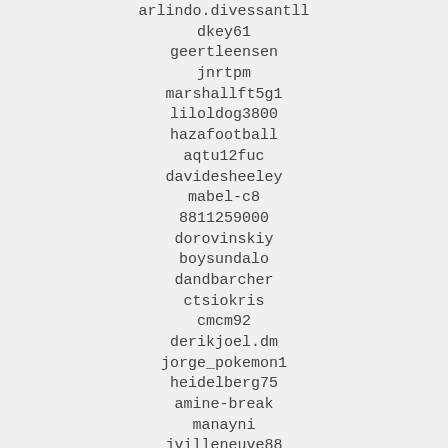arlindo.div essan tll
dkey61
geertleensen
jnrtpm
marshallft5g1
liloldog3800
hazafootball
aqtu12fuc
davidesheeley
mabel-c8
8811259000
dorovinskiy
boysundalo
dandbarcher
ctsiokris
cmcm92
derikjoel.dm
jorge_pokemon1
heidelberg75
amine-break
manayni
jvilleneuve88
ian_jasper24
bernadine_wonterghem
aggncrush